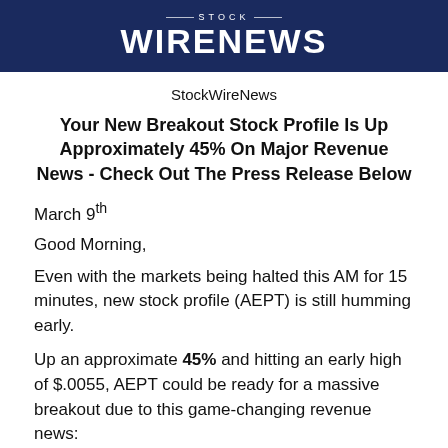STOCK WIRENEWS
StockWireNews
Your New Breakout Stock Profile Is Up Approximately 45% On Major Revenue News - Check Out The Press Release Below
March 9th
Good Morning,
Even with the markets being halted this AM for 15 minutes, new stock profile (AEPT) is still humming early.
Up an approximate 45% and hitting an early high of $.0055, AEPT could be ready for a massive breakout due to this game-changing revenue news: